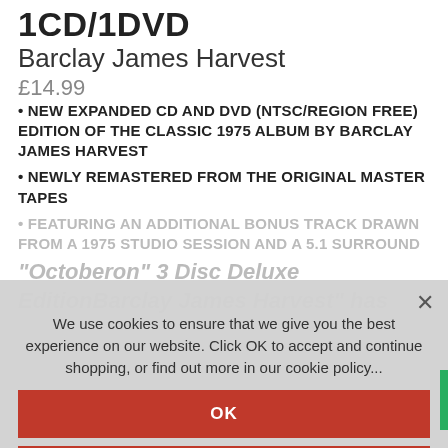1CD/1DVD
Barclay James Harvest
£14.99
• NEW EXPANDED CD AND DVD (NTSC/REGION FREE) EDITION OF THE CLASSIC 1975 ALBUM BY BARCLAY JAMES HARVEST
• NEWLY REMASTERED FROM THE ORIGINAL MASTER TAPES
• FEATURING AN ADDITIONAL BONUS TRACK DRAWN FROM A 1975 STUDIO SESSION AND A 5.1 SURROUND
"Octoberon" 3 Disc Deluxe Edition Barclay James Harvest" has
We use cookies to ensure that we give you the best experience on our website. Click OK to accept and continue shopping, or find out more in our cookie policy...
OK
READ MORE